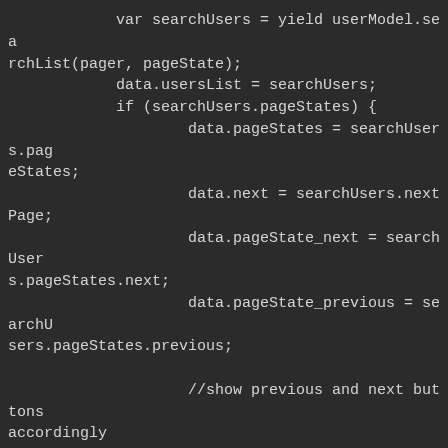var searchUsers = yield userModel.searchList(pager, pageState);
            data.usersList = searchUsers;
            if (searchUsers.pageStates) {
                    data.pageStates = searchUsers.pageStates;
                    data.next = searchUsers.nextPage;
                    data.pageState_next = searchUsers.pageStates.next;
                    data.pageState_previous = searchUsers.pageStates.previous;

                    //show previous and next buttons accordingly
                    if (currentPage == 1 && pager.TotalPages > 1) {
                            data.isPrevious = false;
                            data.isNext = true;
                    }
                    else if (currentPage == 1 && pager.TotalPages <= 1) {